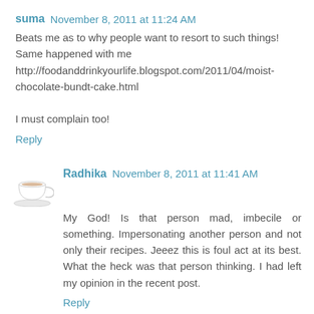suma November 8, 2011 at 11:24 AM
Beats me as to why people want to resort to such things! Same happened with me http://foodanddrinkyourlife.blogspot.com/2011/04/moist-chocolate-bundt-cake.html

I must complain too!
Reply
Radhika November 8, 2011 at 11:41 AM
My God! Is that person mad, imbecile or something. Impersonating another person and not only their recipes. Jeeez this is foul act at its best. What the heck was that person thinking. I had left my opinion in the recent post.
Reply
Prathima Rao November 8, 2011 at 11:53 AM